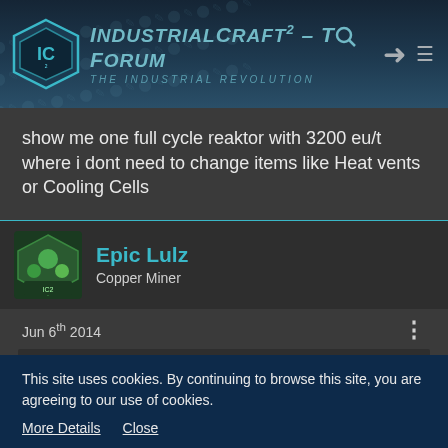IndustrialCraft² - The Forum | The Industrial Revolution
show me one full cycle reaktor with 3200 eu/t where i dont need to change items like Heat vents or Cooling Cells
Epic Lulz
Copper Miner
Jun 6th 2014
Quote from Treitz
This site uses cookies. By continuing to browse this site, you are agreeing to our use of cookies.
More Details   Close